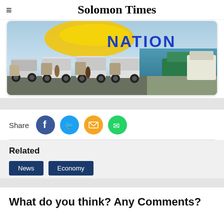Solomon Times
[Figure (photo): Banner photo showing fuel tanker trucks parked at a port, with a boat/ferry visible in the background on the water. Text 'NATION' visible with a yellow swoosh logo.]
Share
Related
News Economy
What do you think? Any Comments?